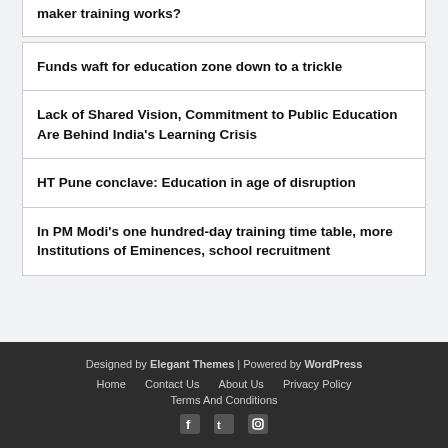maker training works?
Funds waft for education zone down to a trickle
Lack of Shared Vision, Commitment to Public Education Are Behind India's Learning Crisis
HT Pune conclave: Education in age of disruption
In PM Modi's one hundred-day training time table, more Institutions of Eminences, school recruitment
Designed by Elegant Themes | Powered by WordPress
Home   Contact Us   About Us   Privacy Policy
Terms And Conditions